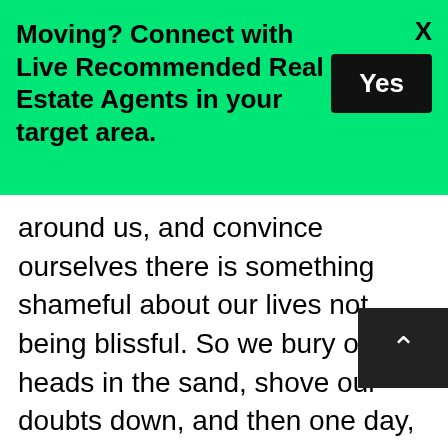[Figure (infographic): Green banner advertisement: 'Moving? Connect with Live Recommended Real Estate Agents in your target area.' with a black 'Yes' button and an X close button.]
around us, and convince ourselves there is something shameful about our lives not being blissful. So we bury our heads in the sand, shove our doubts down, and then one day, they all come bubbling up.
For me, that day came up and I posted in a entrepreneurial Facebook Group with over 70,000 people and asked the question, "Would you hire a mindset coach who takes an antidepressant?"